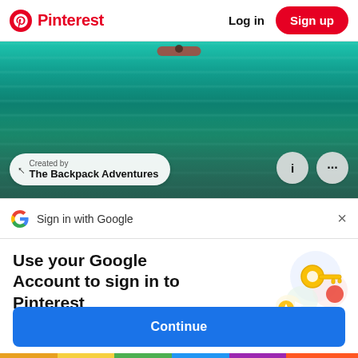Pinterest  Log in  Sign up
[Figure (screenshot): Photo of turquoise water (pool or natural water body) with a kayak or person visible at top. Overlay shows 'Created by The Backpack Adventures' pill button and two circular icon buttons (info and more).]
Created by The Backpack Adventures
Sign in with Google
Use your Google Account to sign in to Pinterest
No more passwords to remember. Signing in is fast, simple and secure.
Continue